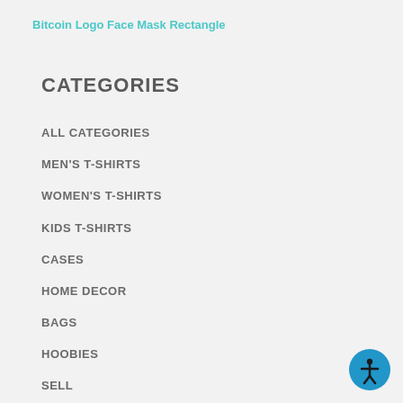Bitcoin Logo Face Mask Rectangle
CATEGORIES
ALL CATEGORIES
MEN'S T-SHIRTS
WOMEN'S T-SHIRTS
KIDS T-SHIRTS
CASES
HOME DECOR
BAGS
HOOBIES
SELL
[Figure (illustration): Accessibility icon button — blue circle with a white human figure symbol]